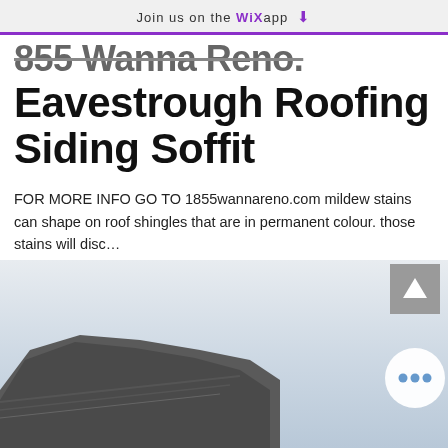Join us on the WiX app
855 Wanna Reno. Eavestrough Roofing Siding Soffit
FOR MORE INFO GO TO 1855wannareno.com mildew stains can shape on roof shingles that are in permanent colour. those stains will disc…
[Figure (photo): Photo of roofing material against a light sky background, partially visible at the bottom of the page. A grey back-to-top button and a white circular more-options button with blue dots are overlaid.]